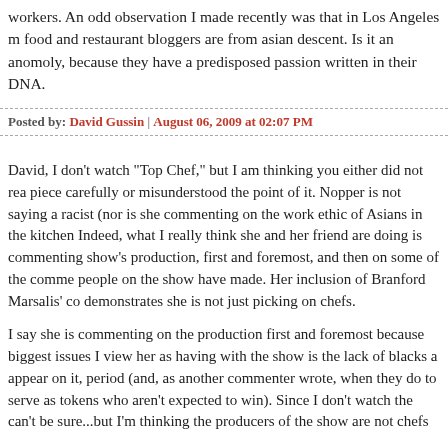workers. An odd observation I made recently was that in Los Angeles many food and restaurant bloggers are from asian descent. Is it an anomoly, or because they have a predisposed passion written in their DNA.
Posted by: David Gussin | August 06, 2009 at 02:07 PM
David, I don't watch "Top Chef," but I am thinking you either did not read the piece carefully or misunderstood the point of it. Nopper is not saying all chefs are racist (nor is she commenting on the work ethic of Asians in the kitchen at all). Indeed, what I really think she and her friend are doing is commenting on the show's production, first and foremost, and then on some of the comments people on the show have made. Her inclusion of Branford Marsalis' comments demonstrates she is not just picking on chefs.
I say she is commenting on the production first and foremost because one of the biggest issues I view her as having with the show is the lack of blacks appearing on it, period (and, as another commenter wrote, when they do, it tends to serve as tokens who aren't expected to win). Since I don't watch the show, I can't be sure...but I'm thinking the producers of the show are not chefs.
I think you just wanted to find offense with this kind of piece.
K.I.M.--And I agree that you can analyze plenty of other shows for, particularly racial and sex/gender issues and increasingly for sexual orientation is